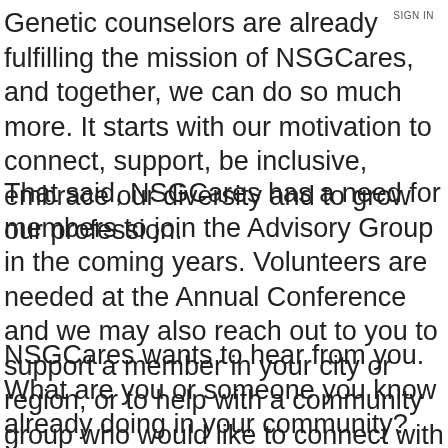SIGN IN
Genetic counselors are already fulfilling the mission of NSGCares, and together, we can do so much more. It starts with our motivation to connect, support, be inclusive, embrace our diversity and to grow our profession.
That said, NSGCares has a need for members to join the Advisory Group in the coming years. Volunteers are needed at the Annual Conference and we may also reach out to you to support a member in your city or region, or to help with a community group who would like to connect with a genetic counselor.
NSGCares wants to hear from you. What are you or someone you know already doing in your community? What needs can NSGCares help meet? Do you have ideas that would further our mission?